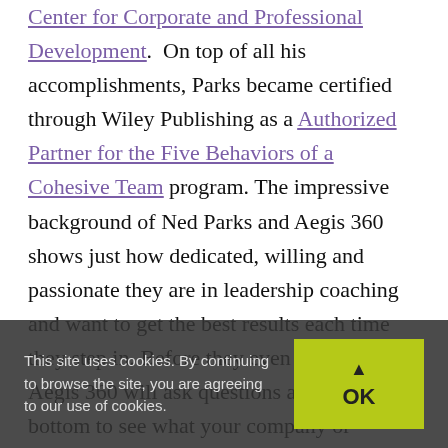Center for Corporate and Professional Development. On top of all his accomplishments, Parks became certified through Wiley Publishing as a Authorized Partner for the Five Behaviors of a Cohesive Team program. The impressive background of Ned Parks and Aegis 360 shows just how dedicated, willing and passionate they are in leadership coaching and want to get the best results each time they step in. Before they even charge you, Aegis 360 will ask questions and dig to the bottom to see what your company or employees really need in order to help your business become smoothly operated with great leadership and communication. Let Ned Parks and Aegis 360 help your business become better tomorrow.
This site uses cookies. By continuing to browse the site, you are agreeing to our use of cookies.